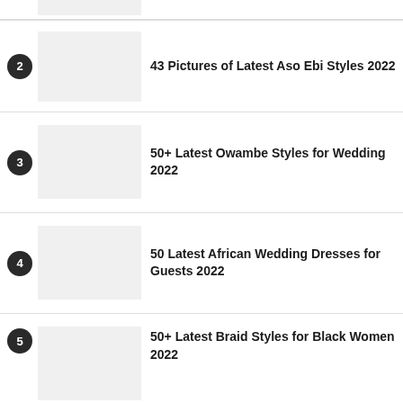43 Pictures of Latest Aso Ebi Styles 2022
50+ Latest Owambe Styles for Wedding 2022
50 Latest African Wedding Dresses for Guests 2022
50+ Latest Braid Styles for Black Women 2022